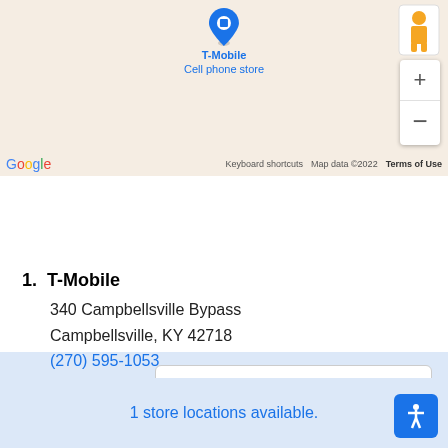[Figure (screenshot): Google Maps screenshot showing T-Mobile Cell phone store pin on a map with zoom controls and pegman icon]
Select a provider: T-Mobile 5G Home Intern...
1. T-Mobile
340 Campbellsville Bypass
Campbellsville, KY 42718
(270) 595-1053
1 store locations available.